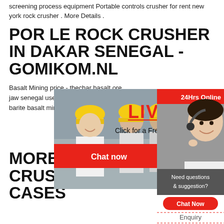screening process equipment Portable controls crusher for rent new york rock crusher . More Details .
POR LE ROCK CRUSHER IN DAKAR SENEGAL - GOMIKOM.NL
Basalt Mining price - thechar basalt ore jaw senegal used Rock Crusher mills as barite basalt mining, barite basalt crusher
[Figure (screenshot): Live chat popup overlay showing workers in yellow helmets, LIVE CHAT heading in red, Click for a Free Consultation text, Chat now and Chat later buttons]
[Figure (screenshot): Right sidebar with red 24Hrs Online header, customer service agent photo, Need questions & suggestion? text, Chat Now button, Enquiry link, limingjlmofen link]
MORE THAN 1000 ROCK CRUSHER S FOR RENT CASES